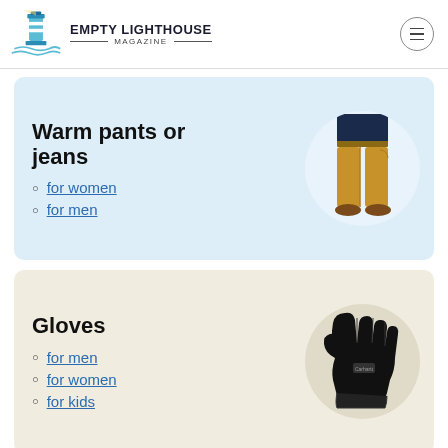EMPTY LIGHTHOUSE MAGAZINE
Warm pants or jeans
for women
for men
[Figure (photo): Man wearing tan/khaki pants with brown shoes, shown from waist down]
Gloves
for men
for women
for kids
[Figure (photo): Black winter glove, Carhartt brand, shown against white circle background]